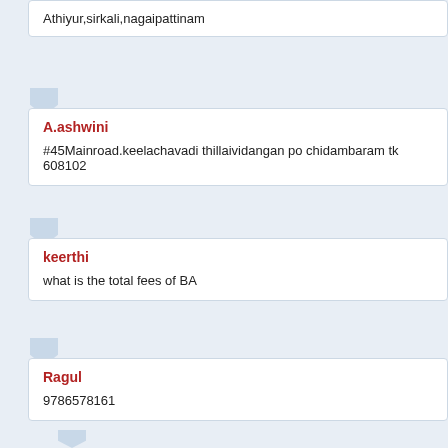Athiyur,sirkali,nagaipattinam
A.ashwini
#45Mainroad.keelachavadi thillaividangan po chidambaram tk 608102
keerthi
what is the total fees of BA
Ragul
9786578161